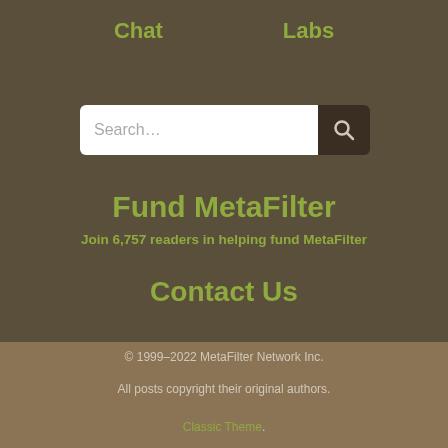Chat   Labs
[Figure (other): Search input box with magnifying glass button]
Fund MetaFilter
Join 6,757 readers in helping fund MetaFilter
Contact Us
© 1999–2022 MetaFilter Network Inc.
All posts copyright their original authors.
Classic Theme.